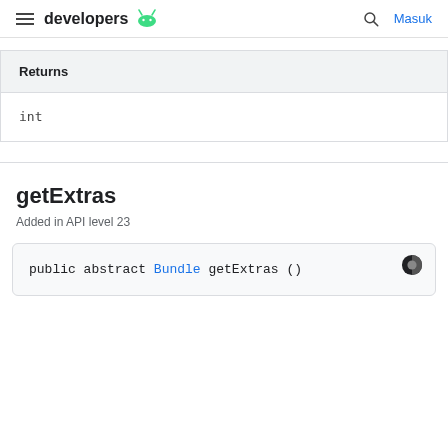developers  Masuk
| Returns |
| --- |
| int |
getExtras
Added in API level 23
public abstract Bundle getExtras ()